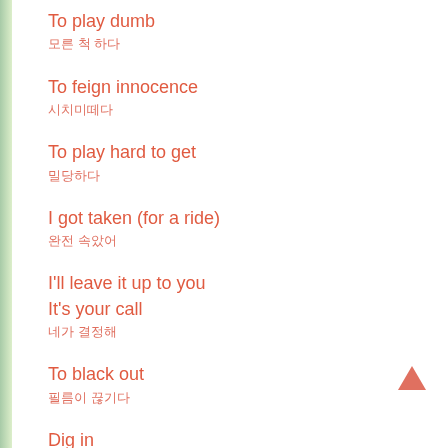To play dumb
모른 척 하다
To feign innocence
시치미떼다
To play hard to get
밀당하다
I got taken (for a ride)
완전 속았어
I'll leave it up to you
It's your call
네가 결정해
To black out
필름이 끊기다
Dig in
먹어 봐요 어서 맛있게 드세요 드세요
While we're on the subject
그러고보니말인데